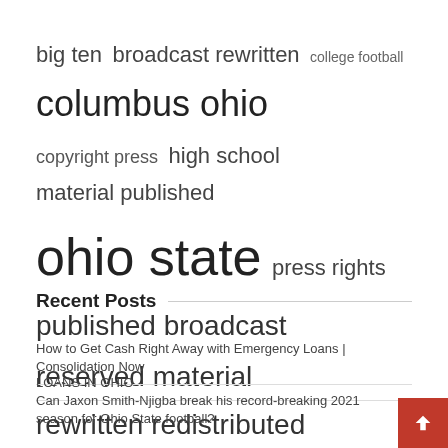[Figure (infographic): Word cloud with terms related to Ohio State football: big ten, broadcast rewritten, college football (small), columbus ohio (large), copyright press, high school, material published, ohio state (very large), press rights, published broadcast, reserved material, rewritten redistributed, rights reserved (large), state ohio, united states (large)]
Recent Posts
How to Get Cash Right Away with Emergency Loans | Consolidation Now
LOANS IN OHIO
Can Jaxon Smith-Njigba break his record-breaking 2021 season for Ohio State football?